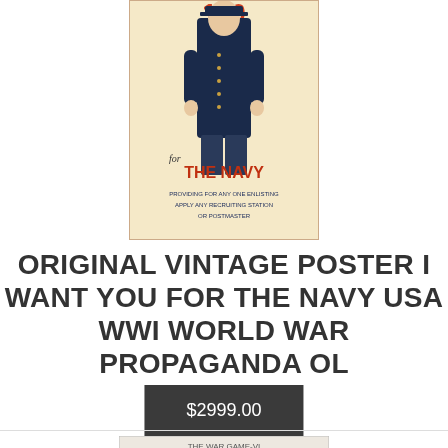[Figure (photo): Vintage WWI Navy recruitment poster showing a naval officer in uniform with text 'for THE NAVY' and 'PROVIDING FOR ANY ONE ENLISTING APPLY ANY RECRUITING STATION OR POSTMASTER']
ORIGINAL VINTAGE POSTER I WANT YOU FOR THE NAVY USA WWI WORLD WAR PROPAGANDA OL
$2999.00
[Figure (photo): Partial view of another item labeled 'THE WAR GAME-VI']